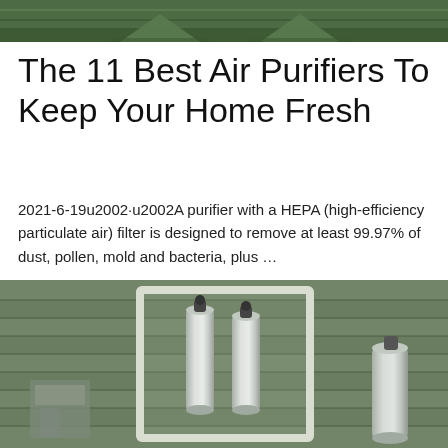[Figure (photo): Top portion of air purifier product image with dark green background, showing bottom edge of equipment with vent/triangle shapes]
The 11 Best Air Purifiers To Keep Your Home Fresh
2021-6-19u2002·u2002A purifier with a HEPA (high-efficiency particulate air) filter is designed to remove at least 99.97% of dust, pollen, mold and bacteria, plus …
Get Price
[Figure (photo): Industrial air purification or filtration equipment with stainless steel cylinders inside a white frame, set against a green background]